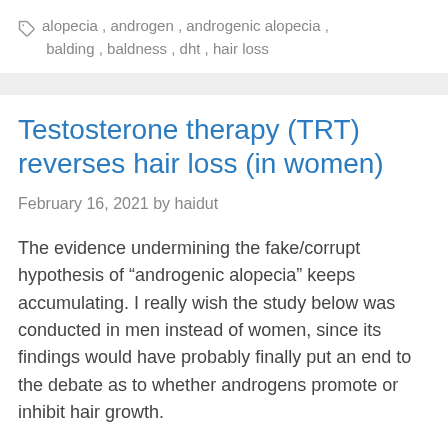🏷 alopecia , androgen , androgenic alopecia , balding , baldness , dht , hair loss
Testosterone therapy (TRT) reverses hair loss (in women)
February 16, 2021 by haidut
The evidence undermining the fake/corrupt hypothesis of "androgenic alopecia" keeps accumulating. I really wish the study below was conducted in men instead of women, since its findings would have probably finally put an end to the debate as to whether androgens promote or inhibit hair growth.